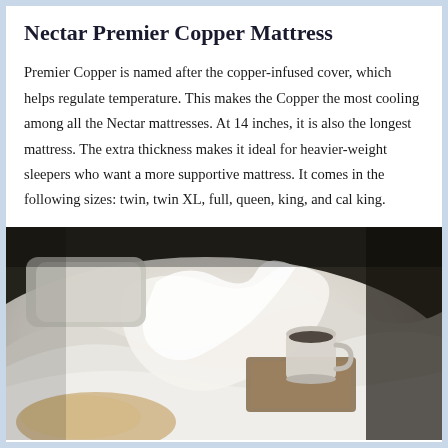Nectar Premier Copper Mattress
Premier Copper is named after the copper-infused cover, which helps regulate temperature. This makes the Copper the most cooling among all the Nectar mattresses. At 14 inches, it is also the longest mattress. The extra thickness makes it ideal for heavier-weight sleepers who want a more supportive mattress. It comes in the following sizes: twin, twin XL, full, queen, king, and cal king.
[Figure (photo): A cozy bed scene with white rumpled linen sheets, a ceramic mug on a wooden tray, and what appears to be a book or tray in the foreground, with a dark background.]